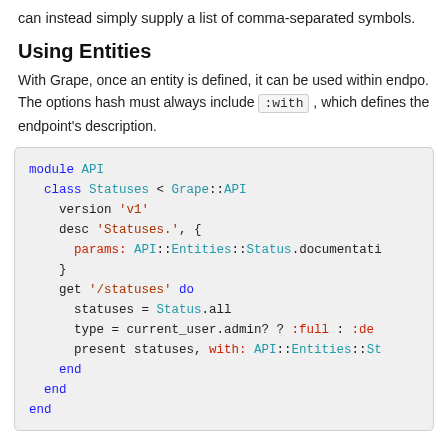can instead simply supply a list of comma-separated symbols.
Using Entities
With Grape, once an entity is defined, it can be used within endpoints. The options hash must always include :with , which defines the endpoint's description.
[Figure (screenshot): Ruby code block showing module API with class Statuses < Grape::API, version 'v1', desc 'Statuses.' with params and get '/statuses' do block]